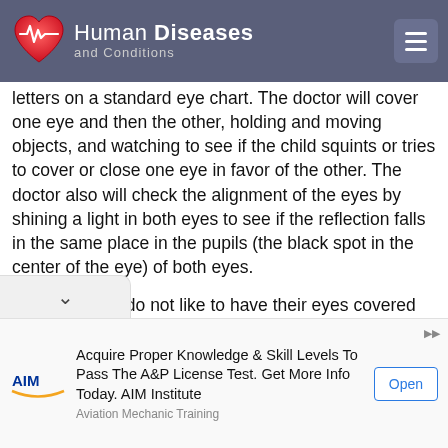Human Diseases and Conditions
letters on a standard eye chart. The doctor will cover one eye and then the other, holding and moving objects, and watching to see if the child squints or tries to cover or close one eye in favor of the other. The doctor also will check the alignment of the eyes by shining a light in both eyes to see if the reflection falls in the same place in the pupils (the black spot in the center of the eye) of both eyes.
Many children do not like to have their eyes covered during these exams. Some are frightened of the equipment that may be held close to their faces. New techniques under development use computers to track eye movements from a distance, sometimes while the child is watching a cartoon.
[Figure (other): Advertisement banner for AIM Institute: Acquire Proper Knowledge & Skill Levels To Pass The A&P License Test. Get More Info Today. AIM Institute. Aviation Mechanic Training. Open button.]